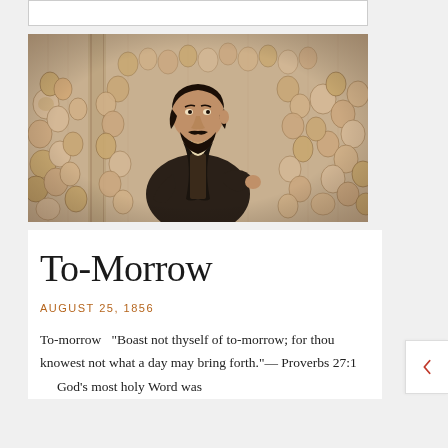[Figure (illustration): Black and white engraving illustration of a bearded man in Victorian-era formal suit (likely Charles Spurgeon) standing in front of a large crowd of faces filling the background, appearing to be in a church or assembly hall setting.]
To-Morrow
AUGUST 25, 1856
To-morrow  "Boast not thyself of to-morrow; for thou knowest not what a day may bring forth."— Proverbs 27:1      God's most holy Word was